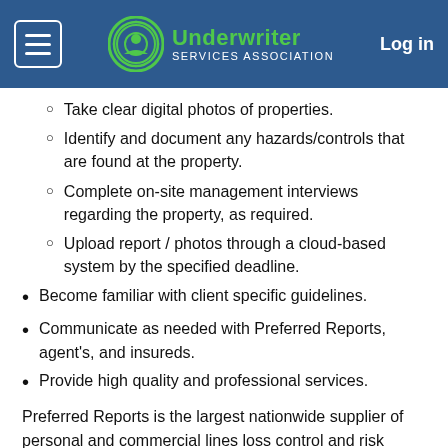Underwriter Services Association | Log in
Take clear digital photos of properties.
Identify and document any hazards/controls that are found at the property.
Complete on-site management interviews regarding the property, as required.
Upload report / photos through a cloud-based system by the specified deadline.
Become familiar with client specific guidelines.
Communicate as needed with Preferred Reports, agent's, and insureds.
Provide high quality and professional services.
Preferred Reports is the largest nationwide supplier of personal and commercial lines loss control and risk intelligence to the insurance industry. We deliver these services through a national network of qualified